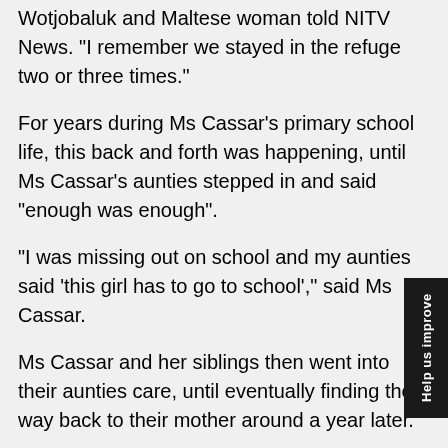Wotjobaluk and Maltese woman told NITV News. "I remember we stayed in the refuge two or three times."
For years during Ms Cassar's primary school life, this back and forth was happening, until Ms Cassar's aunties stepped in and said "enough was enough".
"I was missing out on school and my aunties said 'this girl has to go to school'," said Ms Cassar.
Ms Cassar and her siblings then went into their aunties care, until eventually finding their way back to their mother around a year later.
At this point Ms Cassar was in her first years of high school.
But with their mother still fighting against domestic violence, the four children were separated into two grou and put into foster care.
"The two youngest got severely physically and emotionally abused by their foster parents," said Ms